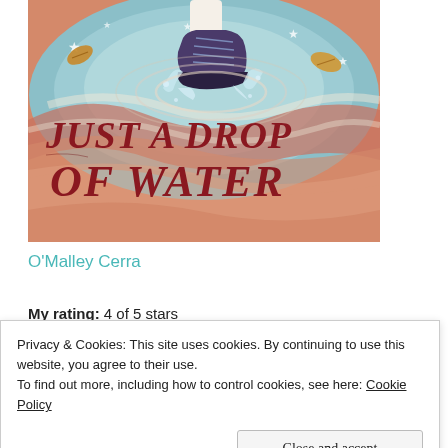[Figure (illustration): Book cover of 'Just a Drop of Water' showing a shoe/boot splashing in a swirling puddle with leaves and stars, painted illustration style with red, teal and cream colors, and bold red stylized text reading 'JUST A DROP OF WATER']
O'Malley Cerra
My rating: 4 of 5 stars
Privacy & Cookies: This site uses cookies. By continuing to use this website, you agree to their use.
To find out more, including how to control cookies, see here: Cookie Policy
Close and accept